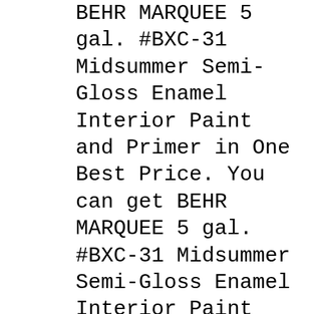BEHR MARQUEE 5 gal. #BXC-31 Midsummer Semi-Gloss Enamel Interior Paint and Primer in One Best Price. You can get BEHR MARQUEE 5 gal. #BXC-31 Midsummer Semi-Gloss Enamel Interior Paint and Primer in One Best Buy from well-liked online shopping site. Most of the purchaser testimonials say to that the BEHR MARQUEE 5 gal. #BXC-31 Midsummer Semi-Gloss Enamel Interior Paint and Primer in вђ¦ BEHR MARQUEE 5 gal. #PPU18-19 Intellectual Semi-Gloss Enamel Exterior Paint and Primer in One Review. Find finest prices from your favorite on-line stores for the BEHR MARQUEE 5 gal. #PPU18-19 Intellectual Semi-Gloss Enamel Exterior Paint and Primer in One Best Buy. Great Discount